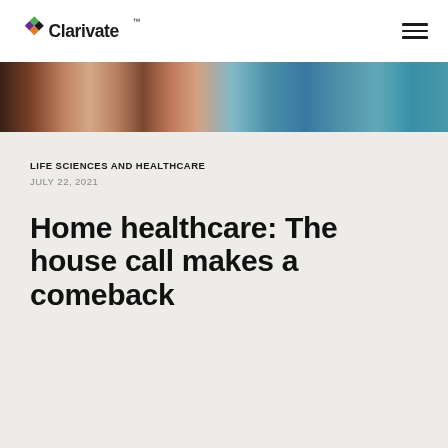Clarivate
[Figure (photo): Cropped banner photo showing a group of people, with warm skin tones on the left blending into cooler blue-teal tones on the right]
LIFE SCIENCES AND HEALTHCARE
JULY 22, 2021
Home healthcare: The house call makes a comeback